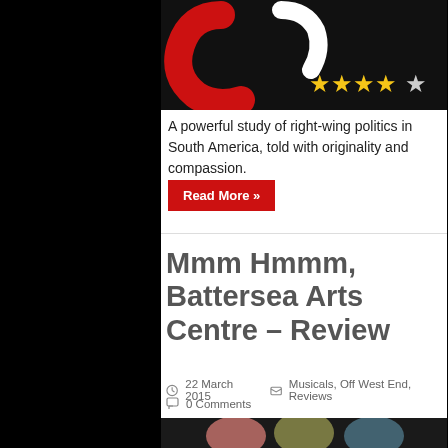[Figure (photo): Dark background image with partial red and white graphic/logo and star rating overlay showing 4 out of 5 stars]
A powerful study of right-wing politics in South America, told with originality and compassion.
Read More »
Mmm Hmmm, Battersea Arts Centre – Review
22 March 2015   Musicals, Off West End, Reviews  0 Comments
[Figure (photo): Three women on a dark stage with mouths open wide, wearing coloured turtleneck tops (pink, olive/yellow, teal)]